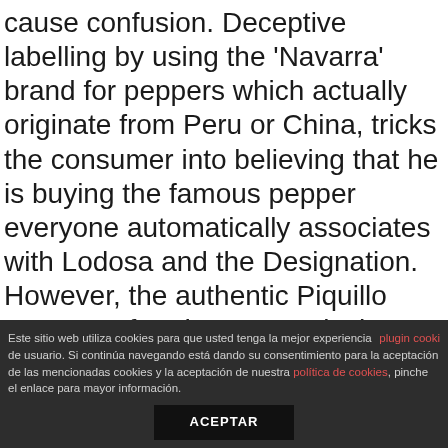cause confusion. Deceptive labelling by using the 'Navarra' brand for peppers which actually originate from Peru or China, tricks the consumer into believing that he is buying the famous pepper everyone automatically associates with Lodosa and the Designation. However, the authentic Piquillo peppers of Lodosa are only those with the label of the Regulatory Council, and so 'Lodosa' should be explicitly mentioned as well. These artisanal peppers are a bit more pricey, but their quality is unique and absolutely worth paying for.
Este sitio web utiliza cookies para que usted tenga la mejor experiencia de usuario. Si continúa navegando está dando su consentimiento para la aceptación de las mencionadas cookies y la aceptación de nuestra política de cookies, pinche el enlace para mayor información. plugin cooki ACEPTAR